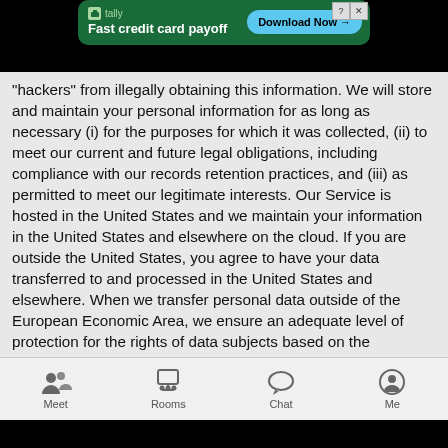[Figure (screenshot): Tally app advertisement banner: green background, Tally logo, text 'Fast credit card payoff', blue 'Download Now' button with arrow, close/help buttons in top right corner]
"hackers" from illegally obtaining this information. We will store and maintain your personal information for as long as necessary (i) for the purposes for which it was collected, (ii) to meet our current and future legal obligations, including compliance with our records retention practices, and (iii) as permitted to meet our legitimate interests. Our Service is hosted in the United States and we maintain your information in the United States and elsewhere on the cloud. If you are outside the United States, you agree to have your data transferred to and processed in the United States and elsewhere. When we transfer personal data outside of the European Economic Area, we ensure an adequate level of protection for the rights of data subjects based on the adequacy of the receiving country's data protection laws and contractual obligations placed on the recipient of the data. A copy of these safeguards may be made available by writing to us at the address provided in the Contact Information section below.
[Figure (screenshot): Mobile app navigation bar with four items: Meet (two people icon), Rooms (group with monitor icon), Chat (speech bubble icon), Me (profile icon)]